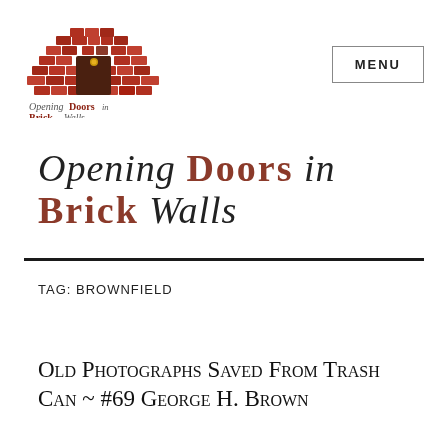[Figure (logo): Opening Doors in Brick Walls logo: semicircular brick arch with a dark wooden door and a small circular window, in red and brown tones, with stylized text below reading 'Opening Doors in Brick Walls']
MENU
Opening Doors in Brick Walls
Tag: Brownfield
Old Photographs Saved From Trash Can ~ #69 George H. Brown